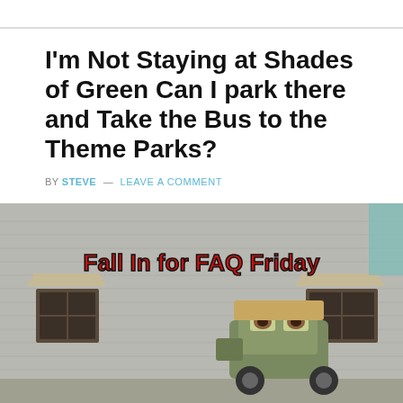I'm Not Staying at Shades of Green Can I park there and Take the Bus to the Theme Parks?
BY STEVE — LEAVE A COMMENT
[Figure (photo): Photo of a military-themed building with corrugated metal siding and a toy jeep (Sarge from Cars) in front, with red text overlay reading 'Fall In for FAQ Friday']